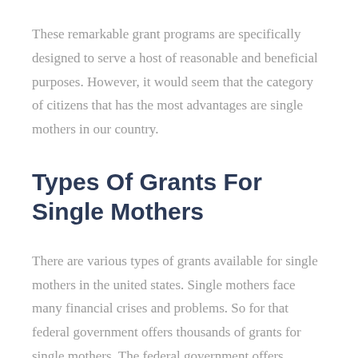These remarkable grant programs are specifically designed to serve a host of reasonable and beneficial purposes. However, it would seem that the category of citizens that has the most advantages are single mothers in our country.
Types Of Grants For Single Mothers
There are various types of grants available for single mothers in the united states. Single mothers face many financial crises and problems. So for that federal government offers thousands of grants for single mothers. The federal government offers various types